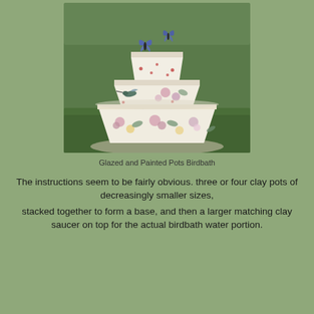[Figure (photo): Three stacked painted and glazed clay pots of decreasing size arranged on grass, decorated with butterflies, hummingbirds, and floral designs in pink, blue, yellow, and green colors.]
Glazed and Painted Pots Birdbath
The instructions seem to be fairly obvious. three or four clay pots of decreasingly smaller sizes, stacked together to form a base, and then a larger matching clay saucer on top for the actual birdbath water portion.
...